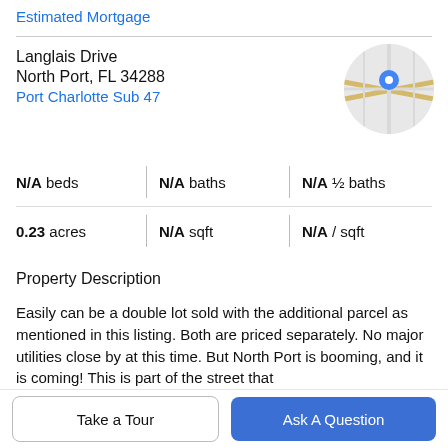Estimated Mortgage
Langlais Drive
North Port, FL 34288
Port Charlotte Sub 47
[Figure (map): Circular map thumbnail showing street map with a blue location pin marker]
| N/A beds | N/A baths | N/A ½ baths |
| 0.23 acres | N/A sqft | N/A / sqft |
Property Description
Easily can be a double lot sold with the additional parcel as mentioned in this listing. Both are priced separately. No major utilities close by at this time. But North Port is booming, and it is coming! This is part of the street that does NOT back to I-75! It is located in the booming city of
Take a Tour
Ask A Question